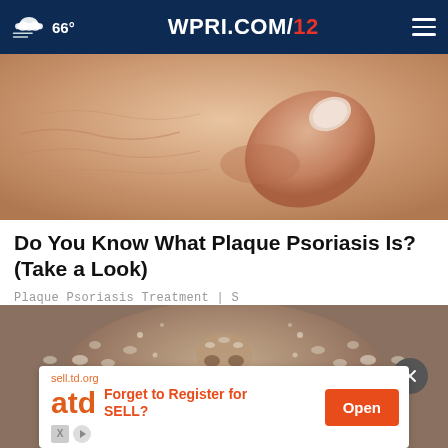66° WPRI.COM/12
[Figure (photo): Close-up of skin with a thumb pressing into it, showing skin texture and a fingernail, pinkish skin tones.]
Do You Know What Plaque Psoriasis Is? (Take a Look)
Plaque Psoriasis Treatment | S
[Figure (photo): Close-up of a person's face covered in dry, flaky white scales typical of plaque psoriasis, showing nose and lips area.]
sell.td.org
atd Forget to Register for SELL?
Open